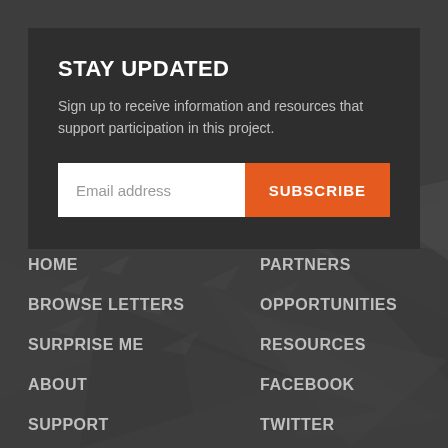STAY UPDATED
Sign up to receive information and resources that support participation in this project.
HOME
BROWSE LETTERS
SURPRISE ME
ABOUT
SUPPORT
GUIDELINES
PARTNERS
OPPORTUNITIES
RESOURCES
FACEBOOK
TWITTER